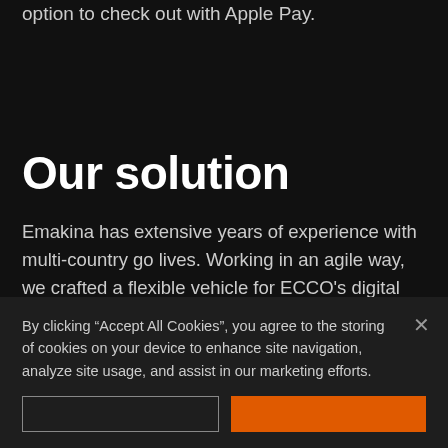option to check out with Apple Pay.
Our solution
Emakina has extensive years of experience with multi-country go lives. Working in an agile way, we crafted a flexible vehicle for ECCO's digital operations in six markets and also helped the client's own team to stand on its own two feet. By
By clicking "Accept All Cookies", you agree to the storing of cookies on your device to enhance site navigation, analyze site usage, and assist in our marketing efforts.